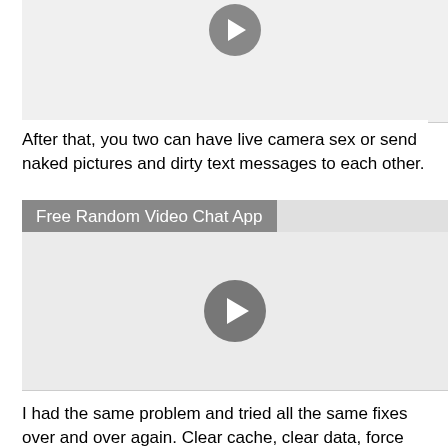[Figure (screenshot): Video thumbnail with play button circle at top]
After that, you two can have live camera sex or send naked pictures and dirty text messages to each other.
Free Random Video Chat App
[Figure (screenshot): Video thumbnail with play button circle in center]
I had the same problem and tried all the same fixes over and over again. Clear cache, clear data, force stop, factory reset...